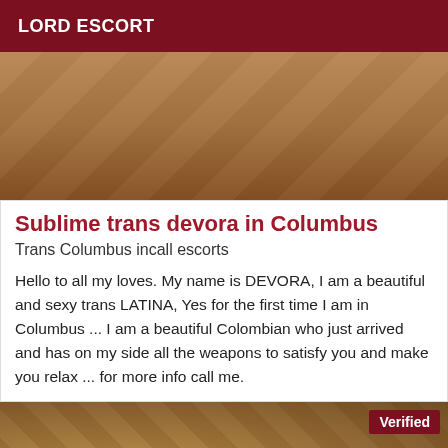LORD ESCORT
[Figure (photo): Close-up photo of wood flooring or surfaces, warm brown tones]
Sublime trans devora in Columbus
Trans Columbus incall escorts
Hello to all my loves. My name is DEVORA, I am a beautiful and sexy trans LATINA, Yes for the first time I am in Columbus ... I am a beautiful Colombian who just arrived and has on my side all the weapons to satisfy you and make you relax ... for more info call me.
[Figure (photo): Photo showing person in leopard print clothing, with a Verified badge overlay in dark red]